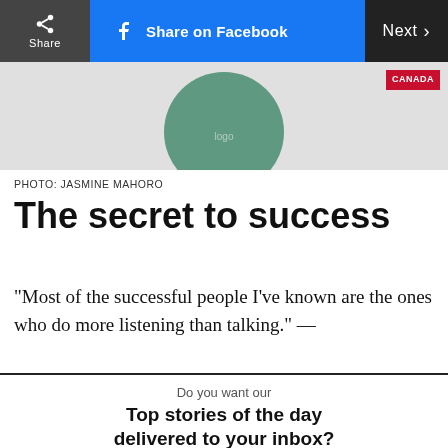Share | Share on Facebook | Next
[Figure (photo): Partial image with a green circular logo/badge visible at top, with a red CANADA badge in upper right corner]
PHOTO: JASMINE MAHORO
The secret to success
“Most of the successful people I’ve known are the ones who do more listening than talking.” —
Do you want our Top stories of the day delivered to your inbox?
YES PLEASE!
NO THANKS